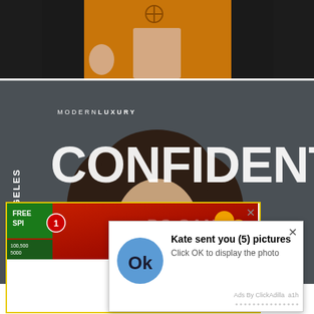[Figure (photo): Person wearing an orange/gold patterned coat or robe against a dark background, cropped to show torso and hands]
[Figure (photo): Los Angeles Confidential magazine cover by Modern Luxury, featuring a woman with brown hair against a dark grey background with large white text reading CONFIDENTIAL]
[Figure (screenshot): Ad popup with yellow border containing a casino/free spin ad banner and a phishing notification popup saying 'Kate sent you (5) pictures - Click OK to display the photo' with an OK button icon, close X button, and 'Ads By ClickAdilla a1h' footer]